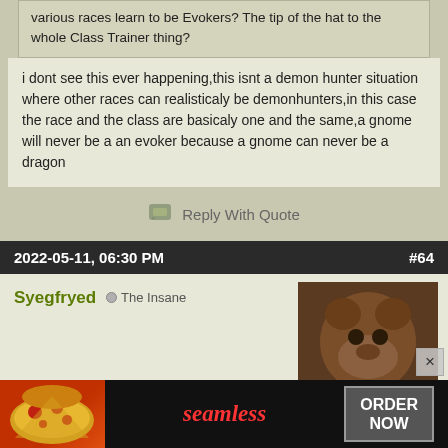various races learn to be Evokers? The tip of the hat to the whole Class Trainer thing?
i dont see this ever happening,this isnt a demon hunter situation where other races can realisticaly be demonhunters,in this case the race and the class are basicaly one and the same,a gnome will never be a an evoker because a gnome can never be a dragon
Reply With Quote
2022-05-11, 06:30 PM   #64
Syegfryed  The Insane
[Figure (photo): Avatar image of user Syegfryed, showing a dark brown bear-like figure]
Originally Posted by darkoms
Are you aware that in the Demon Hunter starting chain, if you sacrifice your friend, he will return as a ghost because his spirit is bound to the Twisting Nether (what he will say when he appears on the Fel Hammer)? It seems that in the original version of this quest you could also sacrifice yourself, but I don't know if this option is still left or not. Or maybe you know that Varedis went to the Twisting Nether... and then conv... kept Illida... could go
[Figure (infographic): Seamless food delivery advertisement banner showing pizza image on left, Seamless logo in center, and ORDER NOW button on right]